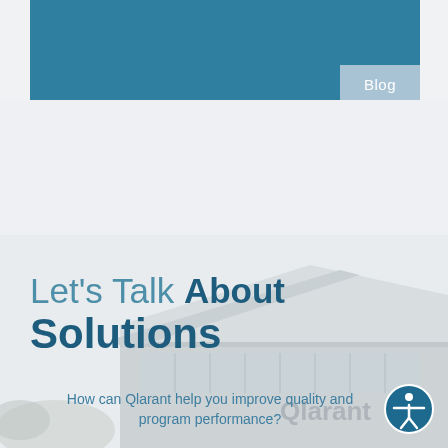Blog
[Figure (photo): Building exterior with Qlarant signage, shown in grayscale/muted tones as a background image]
Let's Talk About Solutions
How can Qlarant help you improve quality and program performance?